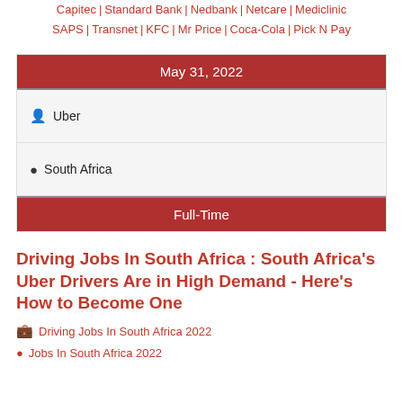Capitec | Standard Bank | Nedbank | Netcare | Mediclinic SAPS | Transnet | KFC | Mr Price | Coca-Cola | Pick N Pay
May 31, 2022
Uber
South Africa
Full-Time
Driving Jobs In South Africa : South Africa's Uber Drivers Are in High Demand - Here's How to Become One
Driving Jobs In South Africa 2022
Jobs In South Africa 2022